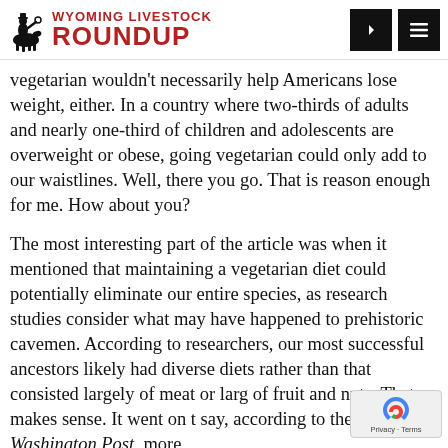Wyoming Livestock Roundup
vegetarian wouldn't necessarily help Americans lose weight, either. In a country where two-thirds of adults and nearly one-third of children and adolescents are overweight or obese, going vegetarian could only add to our waistlines. Well, there you go. That is reason enough for me. How about you?
The most interesting part of the article was when it mentioned that maintaining a vegetarian diet could potentially eliminate our entire species, as research studies consider what may have happened to prehistoric cavemen. According to researchers, our most successful ancestors likely had diverse diets rather than that consisted largely of meat or largely of fruit and nuts. That makes sense. It went on to say, according to the Washington Post, more